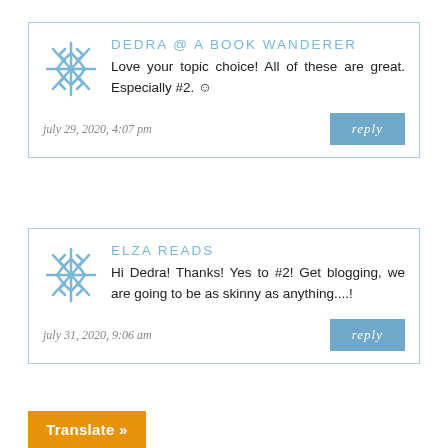DEDRA @ A BOOK WANDERER
Love your topic choice! All of these are great. Especially #2. ☺
july 29, 2020, 4:07 pm
reply
ELZA READS
Hi Dedra! Thanks! Yes to #2! Get blogging, we are going to be as skinny as anything....!
july 31, 2020, 9:06 am
reply
Translate »